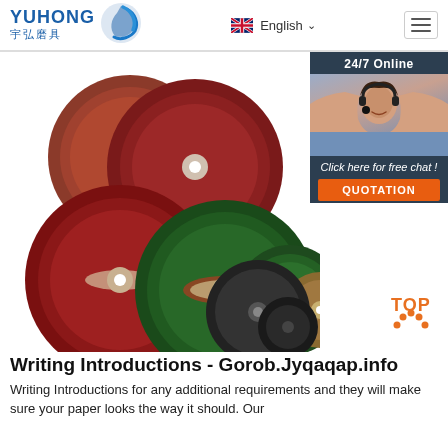YUHONG 宇弘磨具 — English
[Figure (photo): Various grinding/cutting discs in red, green, brown, and black, arranged in two groups on white background, with a customer service representative photo and chat widget on the right side showing '24/7 Online', 'Click here for free chat!', and 'QUOTATION' button]
Writing Introductions - Gorob.Jyqaqap.info
Writing Introductions for any additional requirements and they will make sure your paper looks the way it should. Our